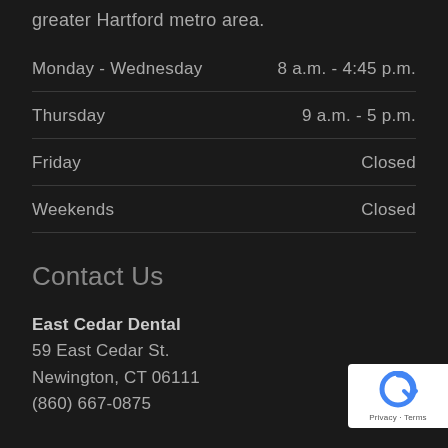greater Hartford metro area.
| Day | Hours |
| --- | --- |
| Monday - Wednesday | 8 a.m. - 4:45 p.m. |
| Thursday | 9 a.m. - 5 p.m. |
| Friday | Closed |
| Weekends | Closed |
Contact Us
East Cedar Dental
59 East Cedar St.
Newington, CT 06111
(860) 667-0875
[Figure (logo): reCAPTCHA badge with Privacy and Terms links]